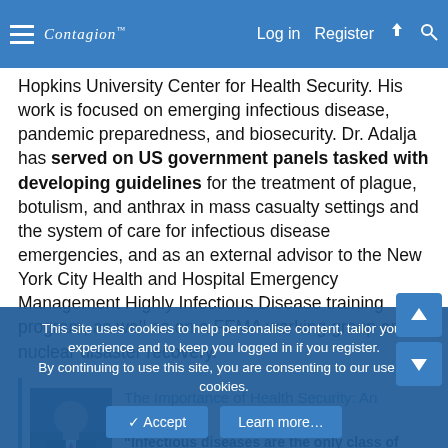Contagion™  Log in  Register
Hopkins University Center for Health Security. His work is focused on emerging infectious disease, pandemic preparedness, and biosecurity. Dr. Adalja has served on US government panels tasked with developing guidelines for the treatment of plague, botulism, and anthrax in mass casualty settings and the system of care for infectious disease emergencies, and as an external advisor to the New York City Health and Hospital Emergency Management Highly Infectious Disease training program, as well as on a FEMA working group on nuclear disaster recovery. "
[Figure (screenshot): Linked article card with thumbnail photo of a man in a suit and text: 'The Importance of Health Security: An Intervi...' and quote '"Infectious diseases are the only class of disease that can be cataclysmic for society and pose the biggest challenges in medicine."']
This site uses cookies to help personalise content, tailor your experience and to keep you logged in if you register. By continuing to use this site, you are consenting to our use of cookies.
✓ Accept   Learn more…